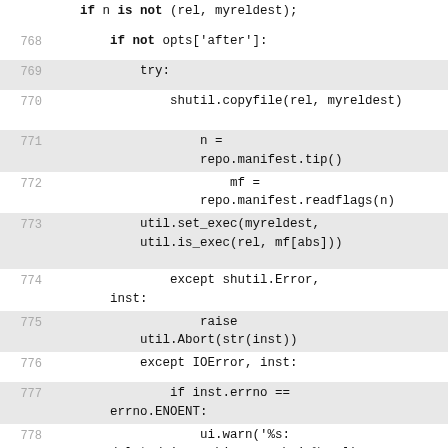767 (partial, cut off at top)
768     if not opts['after']:
769         try:
770             shutil.copyfile(rel, myreldest)
771                 n =
                    repo.manifest.tip()
772                     mf =
                        repo.manifest.readflags(n)
773             util.set_exec(myreldest,
            util.is_exec(rel, mf[abs]))
774             except shutil.Error,
        inst:
775                 raise
            util.Abort(str(inst))
776         except IOError, inst:
777             if inst.errno ==
        errno.ENOENT:
778                 ui.warn('%s:
        deleted in working copy\n' % rel)
779             else:
780                 ui.warn('%s:
        cannot copy - %s\n' % (rel,
        inst.strerror))
781                 errs += 1
782             continue
783         repo.copy(abs, myabsdest)
784         copied.append((abs, rel,
    exact))